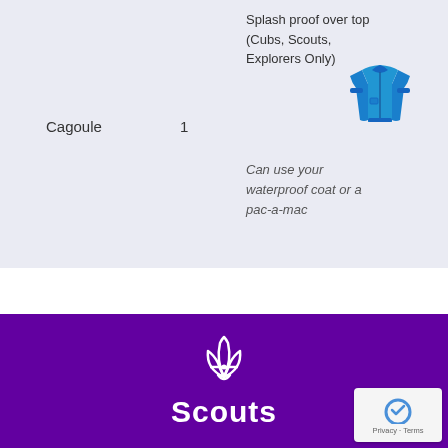| Item | Qty | Notes | Image |
| --- | --- | --- | --- |
| Cagoule | 1 | Splash proof over top (Cubs, Scouts, Explorers Only)
Can use your waterproof coat or a pac-a-mac | [cagoule image] |
[Figure (logo): Scouts fleur-de-lis logo with 'Scouts' text in white on purple background]